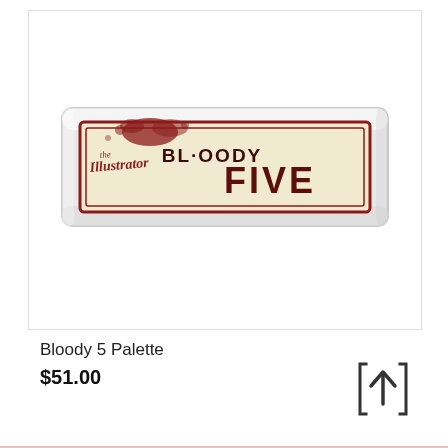[Figure (photo): Product photo of the Bloody 5 Palette — a rectangular clear acrylic case containing a cream/beige-labeled palette with red text reading 'BL·OODY FIVE' and a stylized 'The Illustrator' script logo with red ink splatter design.]
Bloody 5 Palette
$51.00
[Figure (other): Share/upload icon: upward arrow inside a square bracket frame]